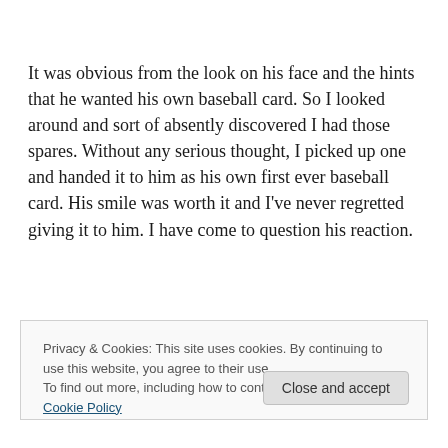It was obvious from the look on his face and the hints that he wanted his own baseball card. So I looked around and sort of absently discovered I had those spares. Without any serious thought, I picked up one and handed it to him as his own first ever baseball card. His smile was worth it and I've never regretted giving it to him. I have come to question his reaction.
He was not just happy, he became a prophet. We've never
Privacy & Cookies: This site uses cookies. By continuing to use this website, you agree to their use.
To find out more, including how to control cookies, see here: Cookie Policy